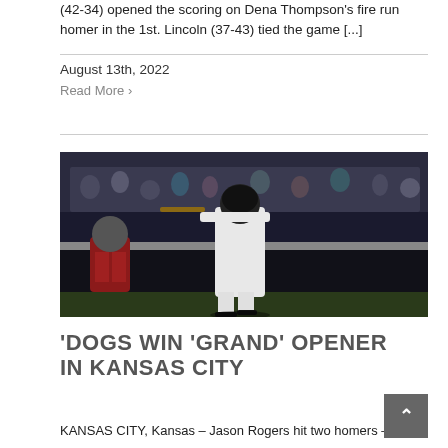(42-34) opened the scoring on Dena Thompson's fire run homer in the 1st. Lincoln (37-43) tied the game [...]
August 13th, 2022
Read More >
[Figure (photo): Baseball player in white uniform swinging bat at home plate, catcher in red uniform squatting behind, stadium crowd in background at night game]
'DOGS WIN 'GRAND' OPENER IN KANSAS CITY
KANSAS CITY, Kansas – Jason Rogers hit two homers –